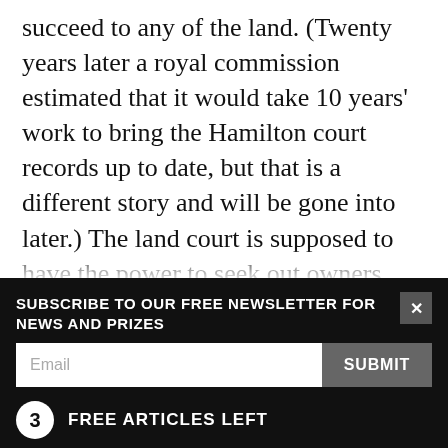succeed to any of the land. (Twenty years later a royal commission estimated that it would take 10 years' work to bring the Hamilton court records up to date, but that is a different story and will be gone into later.) The land court is supposed to have the power to seek out owners, but when the government took the final 216 acres, the court did not try to find owners, nor were any potential successors notified.
And not only could the government take Maori land without telling the owners, the government was not required to settle compensation with the owners of
SUBSCRIBE TO OUR FREE NEWSLETTER FOR NEWS AND PRIZES
3 FREE ARTICLES LEFT